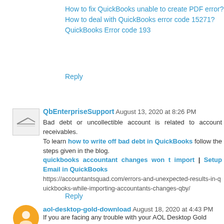How to fix QuickBooks unable to create PDF error?
How to deal with QuickBooks error code 15271?
QuickBooks Error code 193
Reply
QbEnterpriseSupport  August 13, 2020 at 8:26 PM
Bad debt or uncollectible account is related to account receivables.
To learn how to write off bad debt in QuickBooks follow the steps given in the blog.
quickbooks accountant changes won t import | Setup Email in QuickBooks
https://accountantsquad.com/errors-and-unexpected-results-in-quickbooks-while-importing-accountants-changes-qby/
Reply
aol-desktop-gold-download  August 18, 2020 at 4:43 PM
If you are facing any trouble with your AOL Desktop Gold...